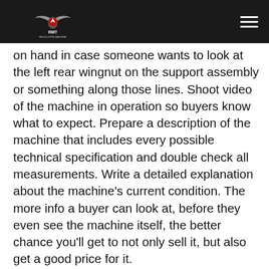RMT Revolution Machine Tools logo and navigation hamburger menu
on hand in case someone wants to look at the left rear wingnut on the support assembly or something along those lines. Shoot video of the machine in operation so buyers know what to expect. Prepare a description of the machine that includes every possible technical specification and double check all measurements. Write a detailed explanation about the machine's current condition. The more info a buyer can look at, before they even see the machine itself, the better chance you'll get to not only sell it, but also get a good price for it.